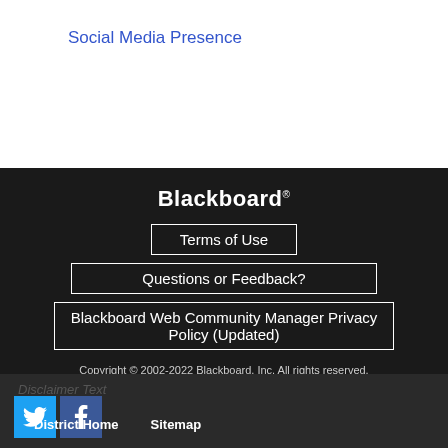Social Media Presence
Blackboard®
Terms of Use
Questions or Feedback?
Blackboard Web Community Manager Privacy Policy (Updated)
Copyright © 2002-2022 Blackboard, Inc. All rights reserved.
Disclaimer Text
[Figure (logo): Twitter bird logo icon in blue square]
[Figure (logo): Facebook f logo icon in blue square]
District Home    Sitemap